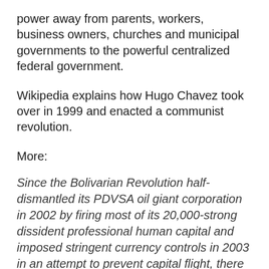power away from parents, workers, business owners, churches and municipal governments to the powerful centralized federal government.
Wikipedia explains how Hugo Chavez took over in 1999 and enacted a communist revolution.
More:
Since the Bolivarian Revolution half-dismantled its PDVSA oil giant corporation in 2002 by firing most of its 20,000-strong dissident professional human capital and imposed stringent currency controls in 2003 in an attempt to prevent capital flight, there has been a steady decline in oil production and exports. Further yet, price controls, expropriation of numerous farmlands and various industries, among other government authoritarian policies... have resulted in severe shortages in Venezuela and